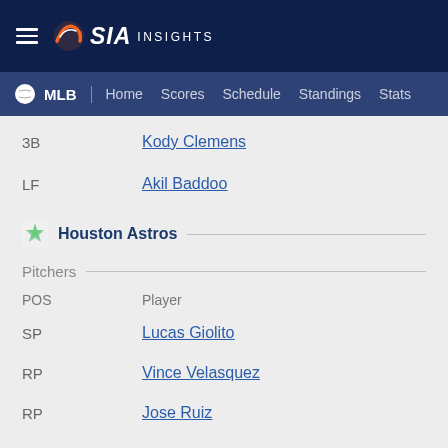SIA INSIGHTS - MLB | Home Scores Schedule Standings Stats
3B  Kody Clemens
LF  Akil Baddoo
Houston Astros
Pitchers
POS  Player
SP  Lucas Giolito
RP  Vince Velasquez
RP  Jose Ruiz
Hitters